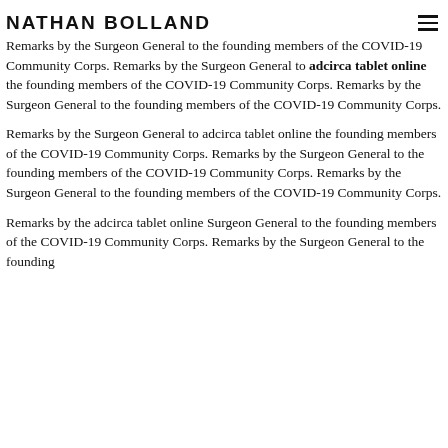NATHAN BOLLAND
Remarks by the Surgeon General to the founding members of the COVID-19 Community Corps. Remarks by the Surgeon General to adcirca tablet online the founding members of the COVID-19 Community Corps. Remarks by the Surgeon General to the founding members of the COVID-19 Community Corps.
Remarks by the Surgeon General to adcirca tablet online the founding members of the COVID-19 Community Corps. Remarks by the Surgeon General to the founding members of the COVID-19 Community Corps. Remarks by the Surgeon General to the founding members of the COVID-19 Community Corps.
Remarks by the adcirca tablet online Surgeon General to the founding members of the COVID-19 Community Corps. Remarks by the Surgeon General to the founding